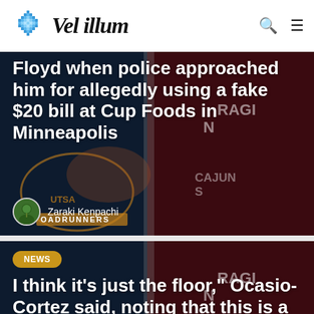Vel illum
[Figure (photo): Dark sports themed background with UTSA Roadrunners and Ragin Cajuns football imagery, dark navy and maroon colors]
Floyd when police approached him for allegedly using a fake $20 bill at Cup Foods in Minneapolis
Zaraki Kenpachi
[Figure (photo): Dark sports themed background with similar football imagery, dark navy and maroon colors]
NEWS
I think it’s just the floor,” Ocasio-Cortez said, noting that this is a “planetary crisis